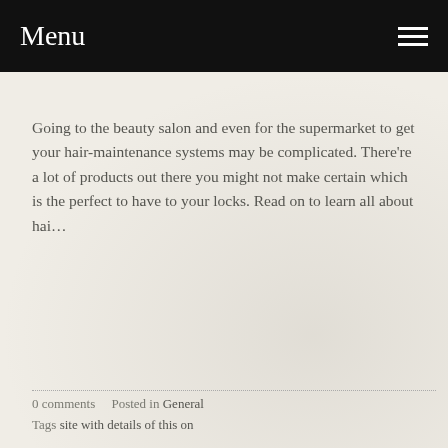Menu
Going to the beauty salon and even for the supermarket to get your hair-maintenance systems may be complicated. There're a lot of products out there you might not make certain which is the perfect to have to your locks. Read on to learn all about hai…
Read more
0 comments   Posted in General
Tags site with details of this on
HAIR CARE TIPS THAT CAN OPERATE HOW YOU WILL